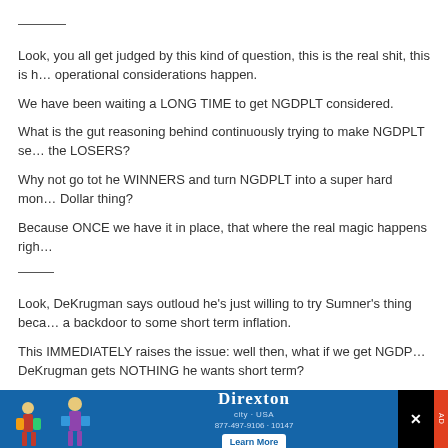———.
Look, you all get judged by this kind of question, this is the real shit, this is how operational considerations happen.
We have been waiting a LONG TIME to get NGDPLT considered.
What is the gut reasoning behind continuously trying to make NGDPLT seem like the LOSERS?
Why not go tot he WINNERS and turn NGDPLT into a super hard mon… Dollar thing?
Because ONCE we have it in place, that where the real magic happens righ…
——
Look, DeKrugman says outloud he's just willing to try Sumner's thing beca… a backdoor to some short term inflation.
This IMMEDIATELY raises the issue: well then, what if we get NGDP… DeKrugman gets NOTHING he wants short term?
I do not believe Sumner thinks the catch-up is actually necessary in the m… IF it gets NGDPLT done sooner.
So c'mon boyos, if I'm wrong WHY am I wrong? What is the assumed log… the like…
[Figure (infographic): Advertisement banner for Direxton with blue background, figures, logo, learn more button, and close button]